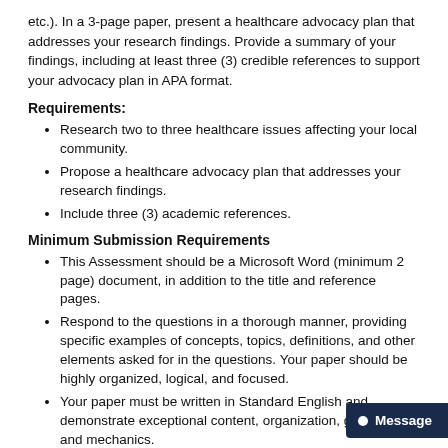etc.). In a 3-page paper, present a healthcare advocacy plan that addresses your research findings. Provide a summary of your findings, including at least three (3) credible references to support your advocacy plan in APA format.
Requirements:
Research two to three healthcare issues affecting your local community.
Propose a healthcare advocacy plan that addresses your research findings.
Include three (3) academic references.
Minimum Submission Requirements
This Assessment should be a Microsoft Word (minimum 2 page) document, in addition to the title and reference pages.
Respond to the questions in a thorough manner, providing specific examples of concepts, topics, definitions, and other elements asked for in the questions. Your paper should be highly organized, logical, and focused.
Your paper must be written in Standard English and demonstrate exceptional content, organization, grammar and mechanics.